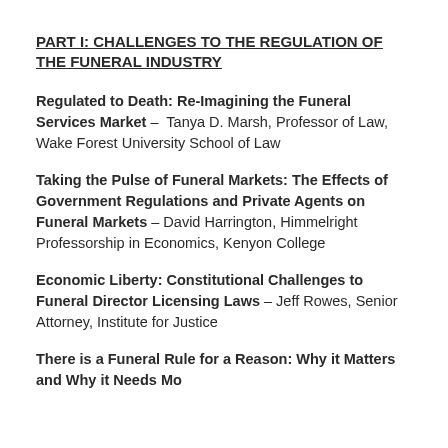PART I: CHALLENGES TO THE REGULATION OF THE FUNERAL INDUSTRY
Regulated to Death: Re-Imagining the Funeral Services Market – Tanya D. Marsh, Professor of Law, Wake Forest University School of Law
Taking the Pulse of Funeral Markets: The Effects of Government Regulations and Private Agents on Funeral Markets – David Harrington, Himmelright Professorship in Economics, Kenyon College
Economic Liberty: Constitutional Challenges to Funeral Director Licensing Laws – Jeff Rowes, Senior Attorney, Institute for Justice
There is a Funeral Rule for a Reason: Why it Matters and Why it Needs Modernization – Sharon Epperson...